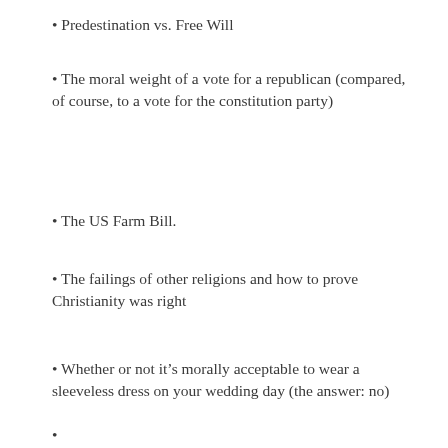Predestination vs. Free Will
The moral weight of a vote for a republican (compared, of course, to a vote for the constitution party)
The US Farm Bill.
The failings of other religions and how to prove Christianity was right
Whether or not it’s morally acceptable to wear a sleeveless dress on your wedding day (the answer: no)
(truncated/continued text at bottom)